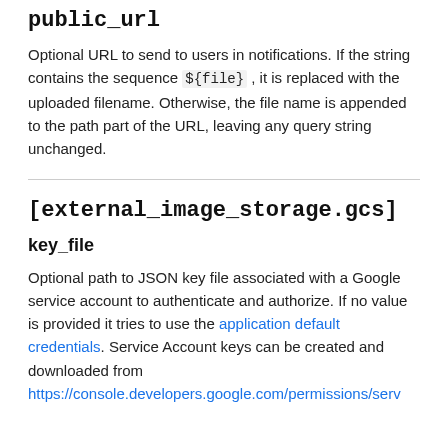public_url
Optional URL to send to users in notifications. If the string contains the sequence ${file} , it is replaced with the uploaded filename. Otherwise, the file name is appended to the path part of the URL, leaving any query string unchanged.
[external_image_storage.gcs]
key_file
Optional path to JSON key file associated with a Google service account to authenticate and authorize. If no value is provided it tries to use the application default credentials. Service Account keys can be created and downloaded from https://console.developers.google.com/permissions/serv